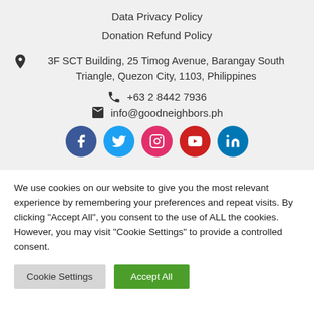Data Privacy Policy
Donation Refund Policy
3F SCT Building, 25 Timog Avenue, Barangay South Triangle, Quezon City, 1103, Philippines
+63 2 8442 7936
info@goodneighbors.ph
[Figure (infographic): Row of 5 social media icons: Facebook (dark blue), Twitter (light blue), Instagram (pink/red gradient), YouTube (red), LinkedIn (blue)]
We use cookies on our website to give you the most relevant experience by remembering your preferences and repeat visits. By clicking "Accept All", you consent to the use of ALL the cookies. However, you may visit "Cookie Settings" to provide a controlled consent.
Cookie Settings
Accept All